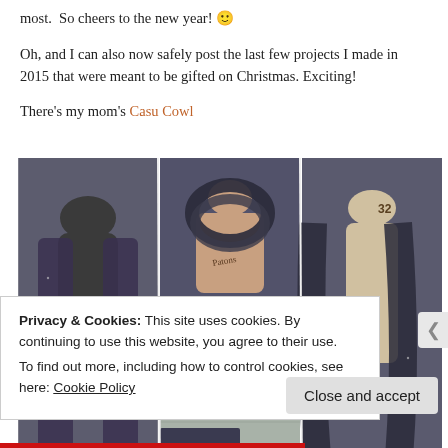most.  So cheers to the new year! 🙂
Oh, and I can also now safely post the last few projects I made in 2015 that were meant to be gifted on Christmas. Exciting!
There's my mom's Casu Cowl
[Figure (photo): Three photos of a dark grey knitted cowl/scarf displayed on dress forms: left shows long scarf draped open, center top shows cowl looped around neck, center bottom shows close-up of fabric texture, right shows scarf draped around neck]
Privacy & Cookies: This site uses cookies. By continuing to use this website, you agree to their use.
To find out more, including how to control cookies, see here: Cookie Policy
Close and accept